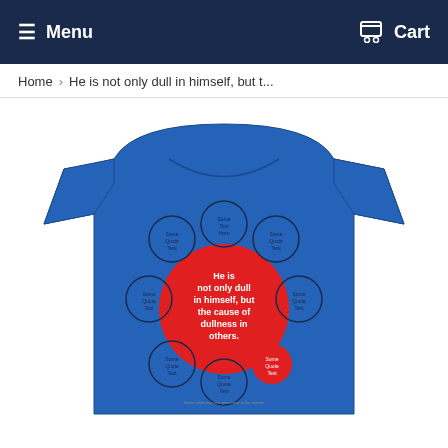Menu   Cart
Home > He is not only dull in himself, but t...
[Figure (photo): Blue t-shirt with a red circle graphic in the center. The red circle contains white text reading 'He is not only dull in himself, but the cause of dullness in others.' Surrounding the central red circle are several smaller outlined circles with smaller text.]